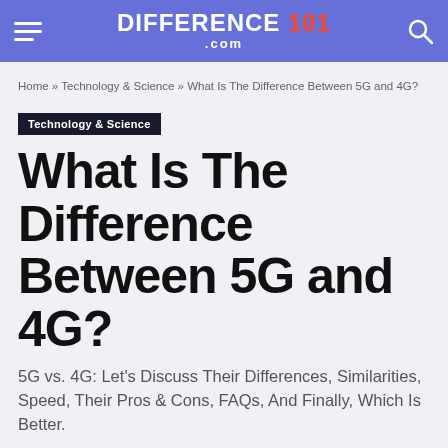DIFFERENCE 101 .com
Home » Technology & Science » What Is The Difference Between 5G and 4G?
Technology & Science
What Is The Difference Between 5G and 4G?
5G vs. 4G: Let's Discuss Their Differences, Similarities, Speed, Their Pros & Cons, FAQs, And Finally, Which Is Better.